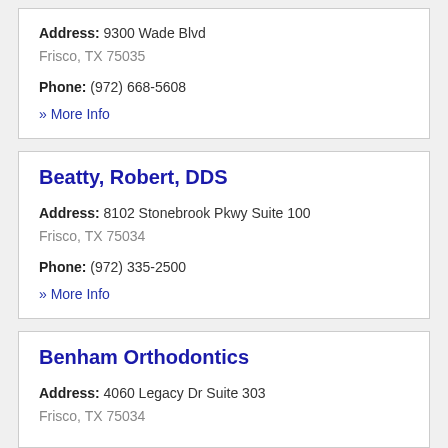Address: 9300 Wade Blvd Frisco, TX 75035
Phone: (972) 668-5608
» More Info
Beatty, Robert, DDS
Address: 8102 Stonebrook Pkwy Suite 100 Frisco, TX 75034
Phone: (972) 335-2500
» More Info
Benham Orthodontics
Address: 4060 Legacy Dr Suite 303
Frisco, TX 75034